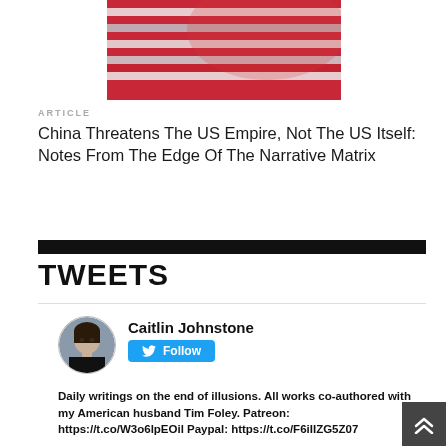[Figure (photo): Close-up photograph of an American flag with red and white stripes, blurred/bokeh effect]
ARTICLE
China Threatens The US Empire, Not The US Itself: Notes From The Edge Of The Narrative Matrix
TWEETS
[Figure (screenshot): Twitter profile card for Caitlin Johnstone with avatar photo, Follow button, and bio text: Daily writings on the end of illusions. All works co-authored with my American husband Tim Foley. Patreon: https://t.co/W3o6lpEOil Paypal: https://t.co/F6ilIZG5Z07]